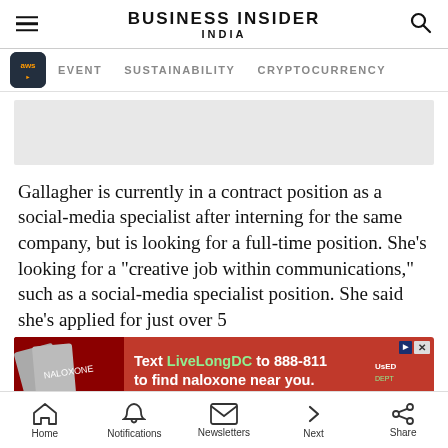BUSINESS INSIDER INDIA
EVENT   SUSTAINABILITY   CRYPTOCURRENCY
[Figure (other): Gray advertisement placeholder banner]
Gallagher is currently in a contract position as a social-media specialist after interning for the same company, but is looking for a full-time position. She's looking for a "creative job within communications," such as a social-media specialist position. She said she's applied for just over 5
[Figure (other): Red advertisement banner: Text LiveLongDC to 888-811 to find naloxone near you.]
Home   Notifications   Newsletters   Next   Share